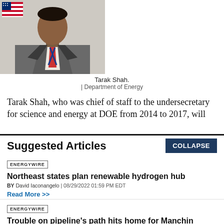[Figure (photo): Portrait photo of Tarak Shah in a gray suit with plaid tie, American flag visible in background]
Tarak Shah.
| Department of Energy
Tarak Shah, who was chief of staff to the undersecretary for science and energy at DOE from 2014 to 2017, will
Suggested Articles
COLLAPSE
ENERGYWIRE
Northeast states plan renewable hydrogen hub
BY David Iaconangelo | 08/29/2022 01:59 PM EDT
Read More >>
ENERGYWIRE
Trouble on pipeline's path hits home for Manchin